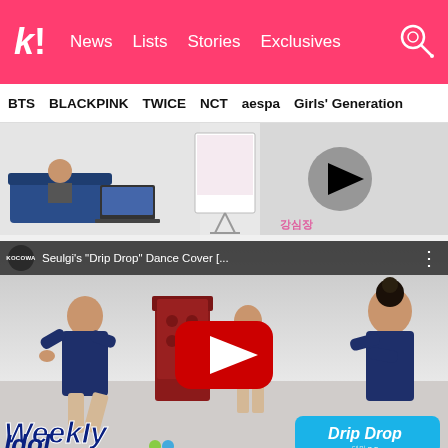k! News Lists Stories Exclusives
BTS BLACKPINK TWICE NCT aespa Girls' Generation
[Figure (screenshot): Partial video strip showing TV show set with people sitting, presenter at laptop, and play button overlay with Korean text]
[Figure (screenshot): YouTube embedded video: Seulgi's Drip Drop Dance Cover from Weekly Idol (KOCOWA). Shows three dancers in navy tops performing, with red YouTube play button in center, Weekly Idol logo bottom left, Drip Drop badge bottom right.]